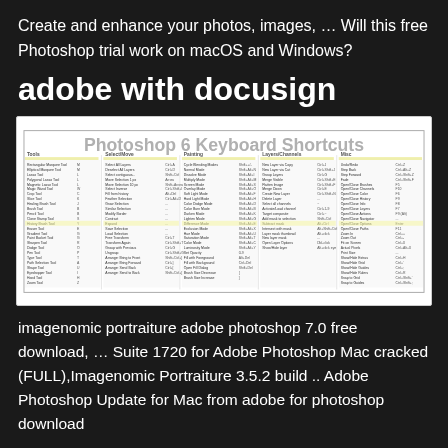Create and enhance your photos, images, … Will this free Photoshop trial work on macOS and Windows?
adobe with docusign
[Figure (screenshot): Photoshop 6 Keyboard Shortcuts reference sheet showing a dense multi-column table of keyboard shortcuts in small text on a white background with a gray title 'Photoshop 6 Keyboard Shortcuts']
imagenomic portraiture adobe photoshop 7.0 free download, … Suite 1720 for Adobe Photoshop Mac cracked (FULL),Imagenomic Portraiture 3.5.2 build .. Adobe Photoshop Update for Mac from adobe for photoshop download